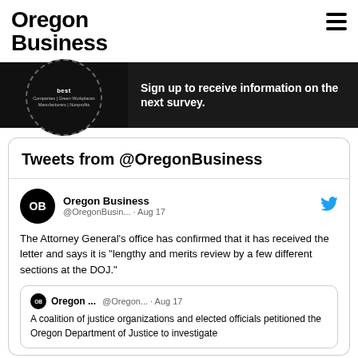Oregon Business
[Figure (infographic): Oregon Best Companies badge with text: Companies | Green Workplaces | Manufacturers | Nonprofits, circular dashed border on dark background]
Sign up to receive information on the next survey.
Tweets from @OregonBusiness
Oregon Business @OregonBusin... · Aug 17
The Attorney General's office has confirmed that it has received the letter and says it is "lengthy and merits review by a few different sections at the DOJ."
Oregon ... @Oregon... · Aug 17 A coalition of justice organizations and elected officials petitioned the Oregon Department of Justice to investigate